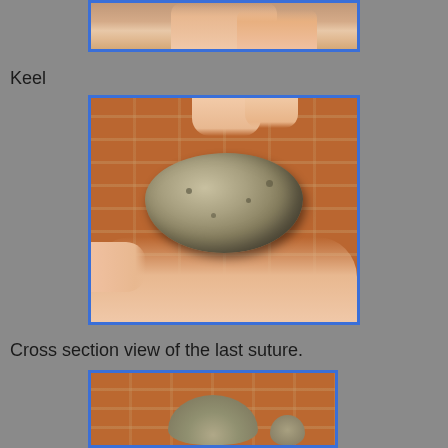[Figure (photo): Top partial photo of a hand holding a fossil specimen against a brick wall background, cropped at the top of the page.]
Keel
[Figure (photo): Photo of a hand holding a rounded, bumpy fossil specimen (possibly an ammonite or similar fossil) against a red brick wall background. The fossil is grayish-brown and oval-shaped with surface texture.]
Cross section view of the last suture.
[Figure (photo): Partial photo showing the bottom portion of a fossil specimen held against a brick wall background, cropped at the bottom of the page.]